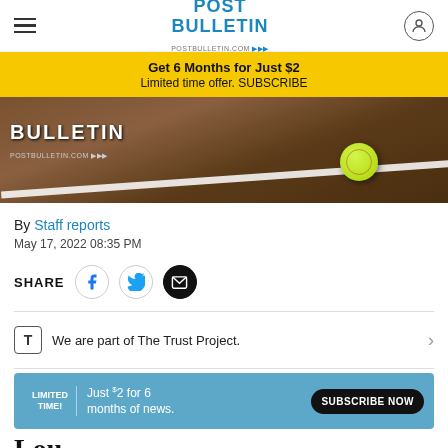POST BULLETIN — postbulletin.com
Get 6 Months for Just $2
Limited time offer. SUBSCRIBE
[Figure (photo): Softball resting on a dirt infield near a chalk baseline, with a Post Bulletin logo overlay]
By Staff reports
May 17, 2022 08:35 PM
SHARE
We are part of The Trust Project.
LIMITED TIME! Just $2 for 6 months of news. SUBSCRIBE NOW
Lou